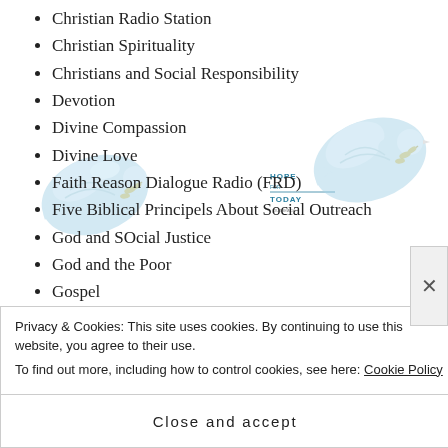Christian Radio Station
Christian Spirituality
Christians and Social Responsibility
Devotion
Divine Compassion
Divine Love
Faith Reason Dialogue Radio (FRD)
Five Biblical Principels About Social Outreach
God and SOcial Justice
God and the Poor
Gospel
Haiti
Privacy & Cookies: This site uses cookies. By continuing to use this website, you agree to their use.
To find out more, including how to control cookies, see here: Cookie Policy
Close and accept